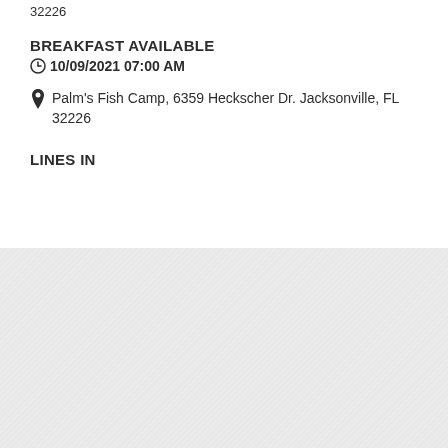32226
BREAKFAST AVAILABLE
10/09/2021 07:00 AM
Palm's Fish Camp, 6359 Heckscher Dr. Jacksonville, FL 32226
LINES IN
[Figure (photo): Light grey textured background filling the lower portion of the page]